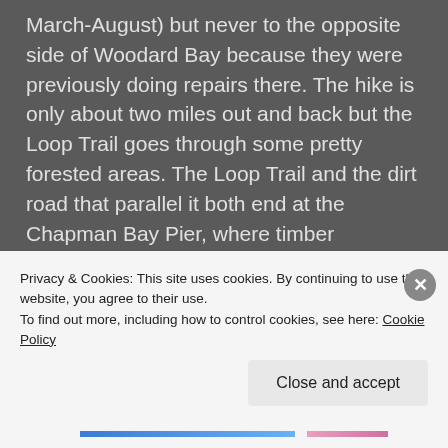March-August) but never to the opposite side of Woodard Bay because they were previously doing repairs there. The hike is only about two miles out and back but the Loop Trail goes through some pretty forested areas. The Loop Trail and the dirt road that parallel it both end at the Chapman Bay Pier, where timber companies use to unload logs for transport up the Puget Sound until about the 1980s. Up until February of this year, the state was removing sections of the old pier and sprucing up the place. It looks beautiful and is great for picnicking and for family hikes. I added some photos of it to my post. If you do go, definitely take
Privacy & Cookies: This site uses cookies. By continuing to use this website, you agree to their use.
To find out more, including how to control cookies, see here: Cookie Policy